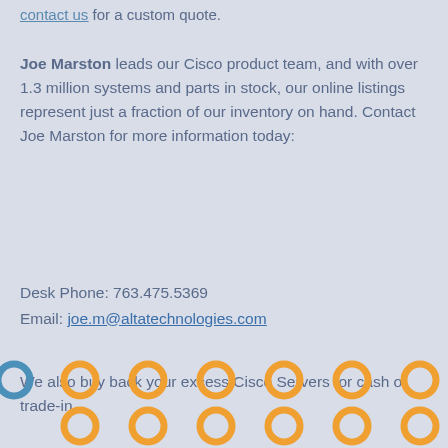contact us for a custom quote.
Joe Marston leads our Cisco product team, and with over 1.3 million systems and parts in stock, our online listings represent just a fraction of our inventory on hand. Contact Joe Marston for more information today:
Desk Phone: 763.475.5369
Email: joe.m@altatechnologies.com
We also buy back your excess Cisco Servers for cash or trade-in.
[Figure (illustration): Two rows of orange and blue circular ring icons arranged horizontally at the bottom of the page]